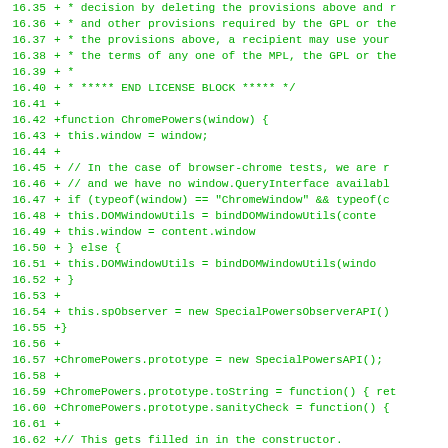[Figure (other): Source code diff showing JavaScript code for ChromePowers module, lines 16.35 to 16.66, displayed in green monospace font on white background]